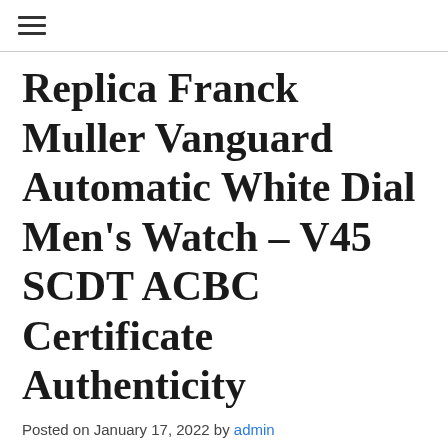☰
Replica Franck Muller Vanguard Automatic White Dial Men's Watch – V45 SCDT ACBC Certificate Authenticity
Posted on January 17, 2022 by admin
Replica Franck Muller Vanguard Automatic White Dial Men's Watch – V45 SCDT ACBC Certificate